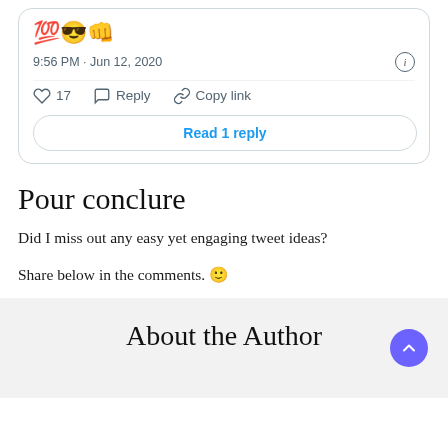[Figure (screenshot): Tweet card showing emojis (100, sunglasses, fist), timestamp 9:56 PM · Jun 12, 2020, like count 17, Reply and Copy link actions, and a 'Read 1 reply' button]
Pour conclure
Did I miss out any easy yet engaging tweet ideas?
Share below in the comments. 🙂
About the Author